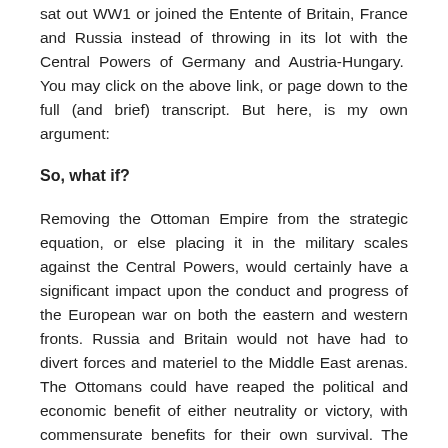sat out WW1 or joined the Entente of Britain, France and Russia instead of throwing in its lot with the Central Powers of Germany and Austria-Hungary. You may click on the above link, or page down to the full (and brief) transcript. But here, is my own argument:
So, what if?
Removing the Ottoman Empire from the strategic equation, or else placing it in the military scales against the Central Powers, would certainly have a significant impact upon the conduct and progress of the European war on both the eastern and western fronts. Russia and Britain would not have had to divert forces and materiel to the Middle East arenas. The Ottomans could have reaped the political and economic benefit of either neutrality or victory, with commensurate benefits for their own survival. The hypotheticals with respect to what may have happened next are innumerable.
The Economist surmises: “How much of today’s mayhem in the Middle East, from civil wars to terror in the name of Islam